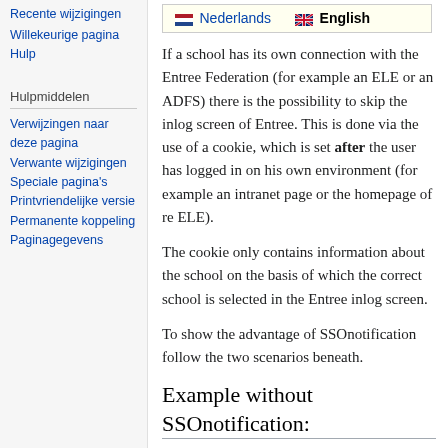Recente wijzigingen
Willekeurige pagina
Hulp
Hulpmiddelen
Verwijzingen naar deze pagina
Verwante wijzigingen
Speciale pagina's
Printvriendelijke versie
Permanente koppeling
Paginagegevens
| Nederlands | English |
| --- | --- |
If a school has its own connection with the Entree Federation (for example an ELE or an ADFS) there is the possibility to skip the inlog screen of Entree. This is done via the use of a cookie, which is set after the user has logged in on his own environment (for example an intranet page or the homepage of re ELE).
The cookie only contains information about the school on the basis of which the correct school is selected in the Entree inlog screen.
To show the advantage of SSOnotification follow the two scenarios beneath.
Example without SSOnotification: